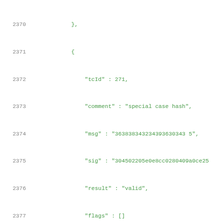2370    },
2371    {
2372        "tcId" : 271,
2373        "comment" : "special case hash",
2374        "msg" : "363838343234393630343 5",
2375        "sig" : "304502205e0e8cc0280409a0ce25",
2376        "result" : "valid",
2377        "flags" : []
2378    },
2379    {
2380        "tcId" : 272,
2381        "comment" : "special case hash",
2382        "msg" : "33323633393838393 7333231",
2383        "sig" : "304502204fcf9c9d9ffbf4e0b982",
2384        "result" : "valid",
2385        "flags" : []
2386    },
2387    {
2388        "tcId" : 273,
2389        "comment" : "special case hash",
2390        "msg" : "313333383733332343 63932",
2391        "sig" : "3046022100c60cd2e08248d58d..."